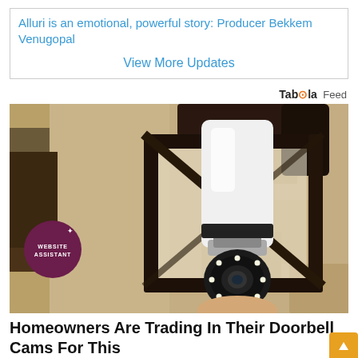Alluri is an emotional, powerful story: Producer Bekkem Venugopal
View More Updates
[Figure (logo): Taboola Feed logo]
[Figure (photo): A person holding a smart light bulb security camera installed in an outdoor lantern-style wall fixture on a textured stone wall. A purple circular badge in the lower-left reads WEBSITE ASSISTANT.]
Homeowners Are Trading In Their Doorbell Cams For This